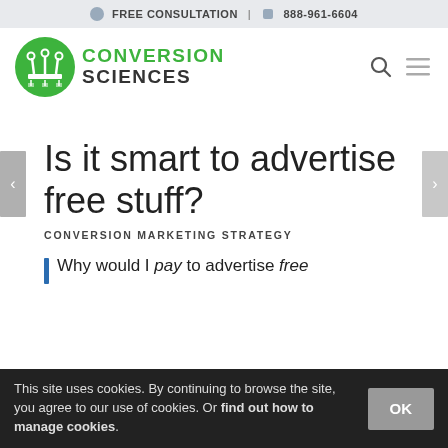FREE CONSULTATION | 888-961-6604
[Figure (logo): Conversion Sciences logo: green circle with antenna icons and green/dark text reading CONVERSION SCIENCES]
Is it smart to advertise free stuff?
CONVERSION MARKETING STRATEGY
Why would I pay to advertise free
This site uses cookies. By continuing to browse the site, you agree to our use of cookies. Or find out how to manage cookies.